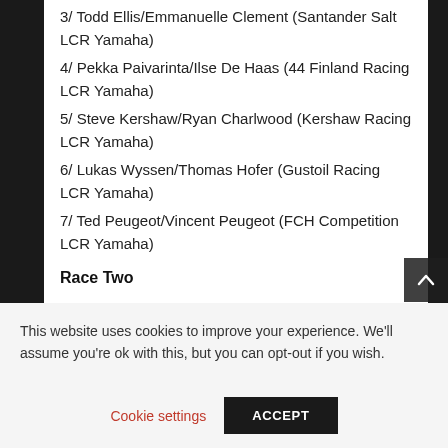3/ Todd Ellis/Emmanuelle Clement (Santander Salt LCR Yamaha)
4/ Pekka Paivarinta/Ilse De Haas (44 Finland Racing LCR Yamaha)
5/ Steve Kershaw/Ryan Charlwood (Kershaw Racing LCR Yamaha)
6/ Lukas Wyssen/Thomas Hofer (Gustoil Racing LCR Yamaha)
7/ Ted Peugeot/Vincent Peugeot (FCH Competition LCR Yamaha)
Race Two
This website uses cookies to improve your experience. We'll assume you're ok with this, but you can opt-out if you wish.